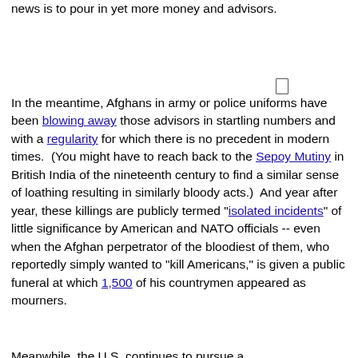news is to pour in yet more money and advisors.
In the meantime, Afghans in army or police uniforms have been blowing away those advisors in startling numbers and with a regularity for which there is no precedent in modern times.  (You might have to reach back to the Sepoy Mutiny in British India of the nineteenth century to find a similar sense of loathing resulting in similarly bloody acts.)  And year after year, these killings are publicly termed "isolated incidents" of little significance by American and NATO officials -- even when the Afghan perpetrator of the bloodiest of them, who reportedly simply wanted to "kill Americans," is given a public funeral at which 1,500 of his countrymen appeared as mourners.
Meanwhile, the U.S. continues to pursue a